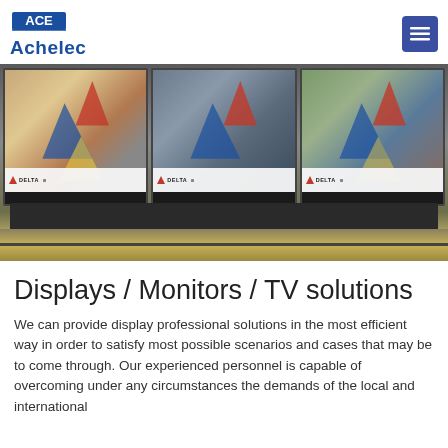Achelec
[Figure (photo): Airport or transit terminal with three large digital display screens showing Delta Airlines advertisements, with a bench in the foreground and a tiled floor.]
Displays / Monitors / TV solutions
We can provide display professional solutions in the most efficient way in order to satisfy most possible scenarios and cases that may be to come through. Our experienced personnel is capable of overcoming under any circumstances the demands of the local and international